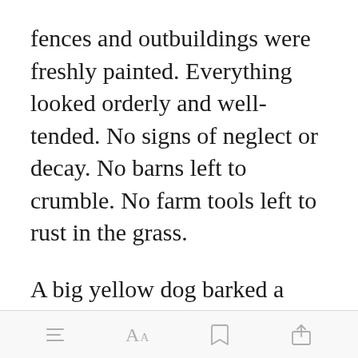fences and outbuildings were freshly painted. Everything looked orderly and well-tended. No signs of neglect or decay. No barns left to crumble. No farm tools left to rust in the grass.
A big yellow dog barked a warning. His master appeared from a nearby barn, walking toward us with an outstretched hand.
[Figure (screenshot): Mobile app toolbar with menu, font size, bookmark, and share icons]